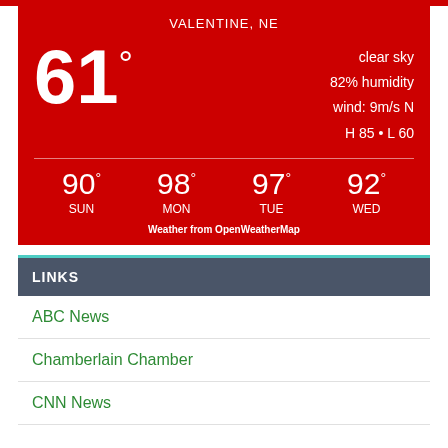VALENTINE, NE
61°
clear sky
82% humidity
wind: 9m/s N
H 85 • L 60
90° SUN   98° MON   97° TUE   92° WED
Weather from OpenWeatherMap
LINKS
ABC News
Chamberlain Chamber
CNN News